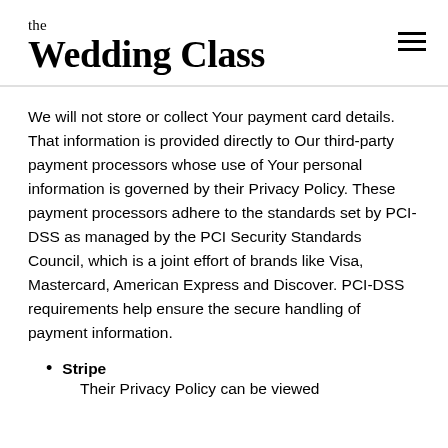the Wedding Class
We will not store or collect Your payment card details. That information is provided directly to Our third-party payment processors whose use of Your personal information is governed by their Privacy Policy. These payment processors adhere to the standards set by PCI-DSS as managed by the PCI Security Standards Council, which is a joint effort of brands like Visa, Mastercard, American Express and Discover. PCI-DSS requirements help ensure the secure handling of payment information.
Stripe
Their Privacy Policy can be viewed